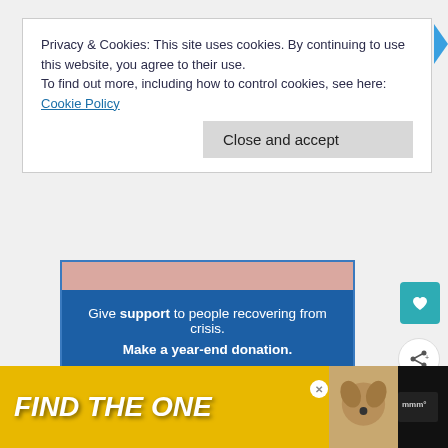Privacy & Cookies: This site uses cookies. By continuing to use this website, you agree to their use.
To find out more, including how to control cookies, see here: Cookie Policy
Close and accept
[Figure (infographic): United Way advertisement banner with blue background. Text reads: 'Give support to people recovering from crisis. Make a year-end donation.' with United Way logo.]
[Figure (infographic): Bottom advertisement banner with yellow background reading 'FIND THE ONE' with a dog image.]
Mas_ _nal history of the_ _ _t diverse.